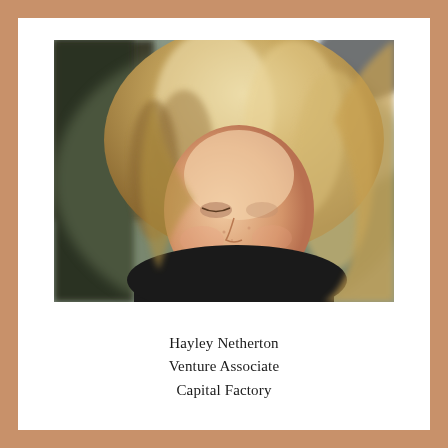[Figure (photo): Profile photo of Hayley Netherton: a smiling woman with long blonde hair, looking downward, against a blurred outdoor background. She is wearing a dark top.]
Hayley Netherton
Venture Associate
Capital Factory